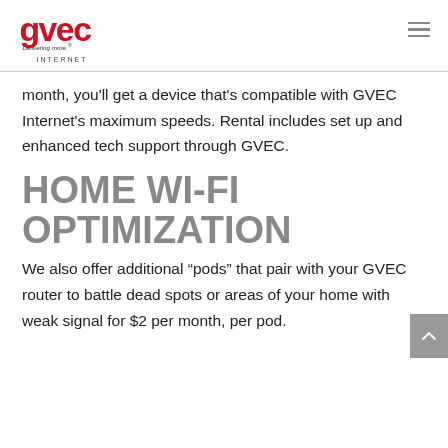[Figure (logo): GVEC logo with red lettering and 'Delivering more.' tagline]
INTERNET
month, you'll get a device that's compatible with GVEC Internet's maximum speeds. Rental includes set up and enhanced tech support through GVEC.
HOME WI-FI OPTIMIZATION
We also offer additional “pods” that pair with your GVEC router to battle dead spots or areas of your home with weak signal for $2 per month, per pod.